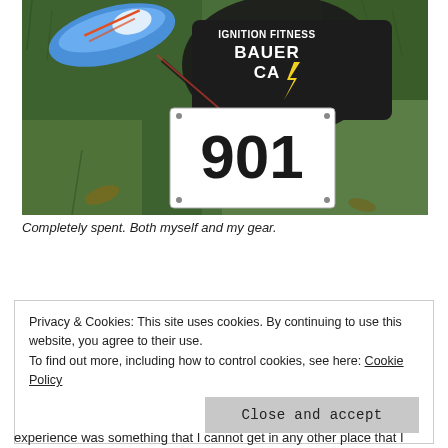[Figure (photo): A race bib with number 901, placed on grass alongside a running shoe and a dark t-shirt reading 'Ignition Fitness Bauer Camp'. The gear appears post-race and disheveled.]
Completely spent. Both myself and my gear.
Privacy & Cookies: This site uses cookies. By continuing to use this website, you agree to their use.
To find out more, including how to control cookies, see here: Cookie Policy
Close and accept
experience was something that I cannot get in any other place that I